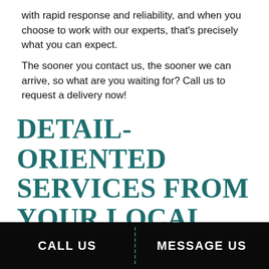with rapid response and reliability, and when you choose to work with our experts, that's precisely what you can expect.
The sooner you contact us, the sooner we can arrive, so what are you waiting for? Call us to request a delivery now!
DETAIL-ORIENTED SERVICES FROM YOUR LOCAL HOTSHOT COMPANY
Providing you with on-the-fly services does not mean we sacrifice the quality of your trucking
CALL US   MESSAGE US